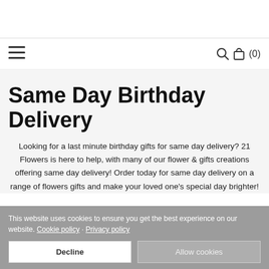[Figure (screenshot): Navigation bar with hamburger menu icon on left, and search icon, bag icon, and (0) cart count on right]
Same Day Birthday Delivery
Looking for a last minute birthday gifts for same day delivery? 21 Flowers is here to help, with many of our flower & gifts creations offering same day delivery! Order today for same day delivery on a range of flowers gifts and make your loved one's special day brighter!
This website uses cookies to ensure you get the best experience on our website. Cookie policy · Privacy policy
Decline
Allow cookies